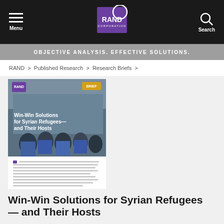Menu | RAND Corporation | Search
OBJECTIVE ANALYSIS. EFFECTIVE SOLUTIONS.
RAND > Published Research > Research Briefs >
[Figure (photo): Cover of RAND research brief titled 'Win-Win Solutions for Syrian Refugees — and Their Hosts', showing workers in a factory setting with a small RAND logo and BRIEF label in the upper corners. Below the image is small body text describing the Syrian refugee crisis.]
Win-Win Solutions for Syrian Refugees — and Their Hosts